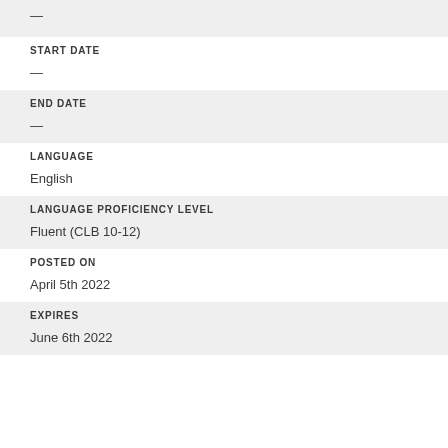—
START DATE
—
END DATE
—
LANGUAGE
English
LANGUAGE PROFICIENCY LEVEL
Fluent (CLB 10-12)
POSTED ON
April 5th 2022
EXPIRES
June 6th 2022